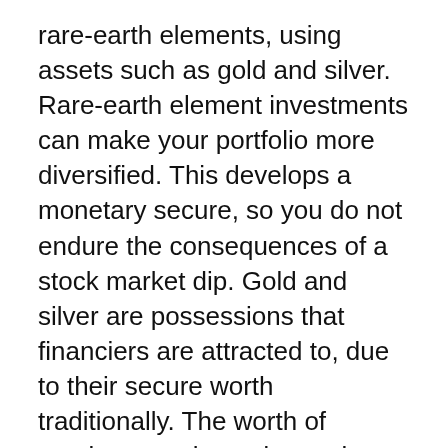rare-earth elements, using assets such as gold and silver. Rare-earth element investments can make your portfolio more diversified. This develops a monetary secure, so you do not endure the consequences of a stock market dip. Gold and silver are possessions that financiers are attracted to, due to their secure worth traditionally. The worth of precious steels tends to raise, when the supply market or economic climate plunges.
There is a consistent need for gold and silver, because the needs of manufacturing, production and modern technology industries keep on increasing. It is simple to sell your silver/gold financial investments at a later date, for any type of reason, and